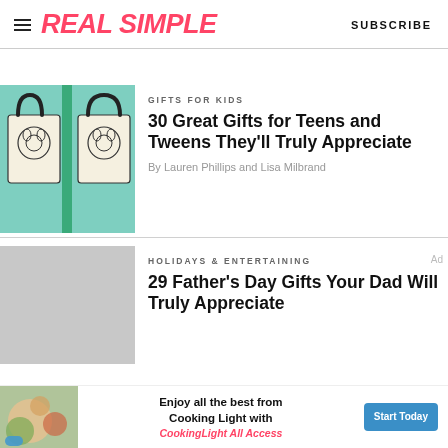REAL SIMPLE | SUBSCRIBE
[Figure (photo): Tote bags with illustrated animal faces on mint green background]
GIFTS FOR KIDS
30 Great Gifts for Teens and Tweens They'll Truly Appreciate
By Lauren Phillips and Lisa Milbrand
[Figure (photo): Gray placeholder image for Father's Day gifts article]
HOLIDAYS & ENTERTAINING
29 Father's Day Gifts Your Dad Will Truly Appreciate
[Figure (photo): Ad banner: Enjoy all the best from Cooking Light with CookingLight All Access — Start Today button]